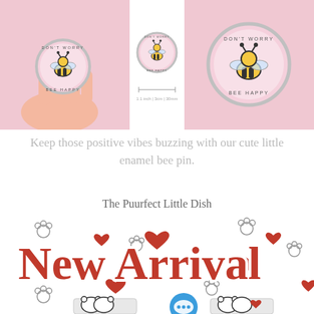[Figure (photo): Three views of a 'Don't Worry Bee Happy' enamel pin: left shows pin held in a hand against pink background, center shows pin with size ruler (1.1 inch / 3cm / 30mm), right shows close-up of pin on pink background.]
Keep those positive vibes buzzing with our cute little enamel bee pin.
The Puurfect Little Dish
[Figure (illustration): New Arrival banner with decorative paw prints, red hearts, and cursive 'New Arrival' text in red with white outline. Below shows cat-themed dish product photos with a blue chat bubble icon.]